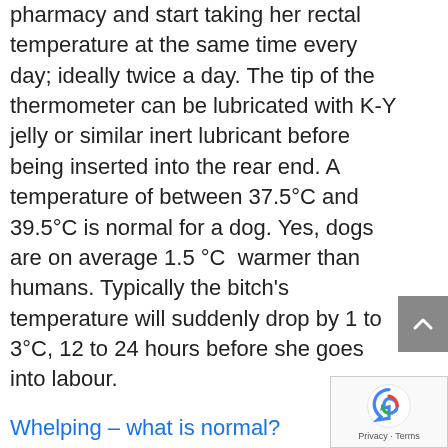pharmacy and start taking her rectal temperature at the same time every day; ideally twice a day. The tip of the thermometer can be lubricated with K-Y jelly or similar inert lubricant before being inserted into the rear end. A temperature of between 37.5°C and 39.5°C is normal for a dog. Yes, dogs are on average 1.5 °C  warmer than humans. Typically the bitch's temperature will suddenly drop by 1 to 3°C, 12 to 24 hours before she goes into labour.
Whelping – what is normal?
Most dogs are able to give birth